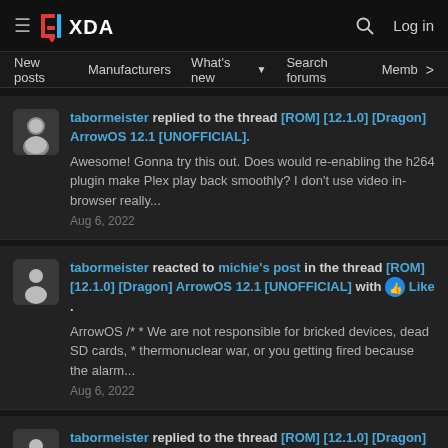XDA Forums — hamburger menu, XDA logo, search icon, Log in
New posts | Manufacturers | What's new | Search forums | Members >
tabormeister replied to the thread [ROM] [12.1.0] [Dragon] ArrowOS 12.1 [UNOFFICIAL]. Awesome! Gonna try this out. Does would re-enabling the h264 plugin make Plex play back smoothly? I don't use video in-browser really... Aug 6, 2022
tabormeister reacted to michie's post in the thread [ROM] [12.1.0] [Dragon] ArrowOS 12.1 [UNOFFICIAL] with Like. ArrowOS /* * We are not responsible for bricked devices, dead SD cards, * thermonuclear war, or you getting fired because the alarm... Aug 6, 2022
tabormeister replied to the thread [ROM] [12.1.0] [Dragon] Pixel Experience Plus 12.1 [UNOFFICIAL].